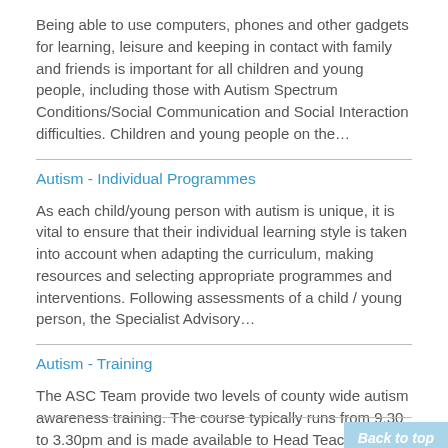Being able to use computers, phones and other gadgets for learning, leisure and keeping in contact with family and friends is important for all children and young people, including those with Autism Spectrum Conditions/Social Communication and Social Interaction difficulties. Children and young people on the…
Autism - Individual Programmes
As each child/young person with autism is unique, it is vital to ensure that their individual learning style is taken into account when adapting the curriculum, making resources and selecting appropriate programmes and interventions. Following assessments of a child / young person, the Specialist Advisory…
Autism - Training
The ASC Team provide two levels of county wide autism awareness training. The course typically runs from 9.30 to 3.30pm and is made available to Head Teachers, SENCOs, Learning Support Assistants, Teaching Assistants, Mentors, Midday Supervisors, Governors as well as SENCo cluster groups. Level 1…